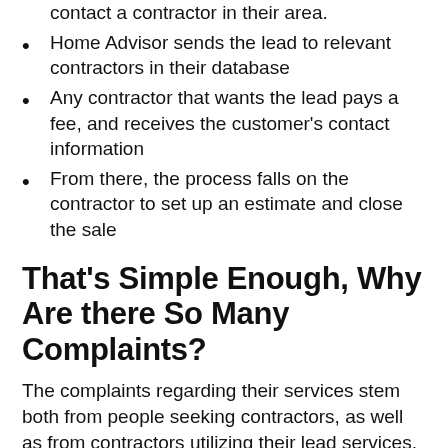contact a contractor in their area.
Home Advisor sends the lead to relevant contractors in their database
Any contractor that wants the lead pays a fee, and receives the customer's contact information
From there, the process falls on the contractor to set up an estimate and close the sale
That's Simple Enough, Why Are there So Many Complaints?
The complaints regarding their services stem both from people seeking contractors, as well as from contractors utilizing their lead services.
A heavy Home Advisor controversy is rooted in reports of the company using fraudulently established business websites, in the name of